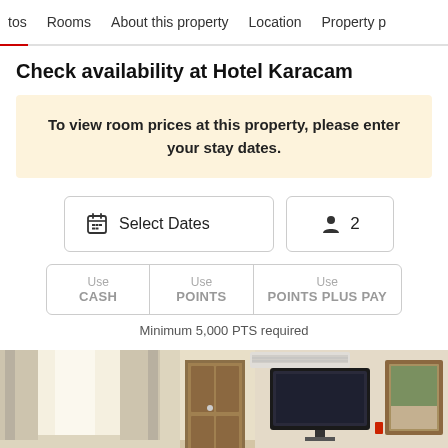tos  Rooms  About this property  Location  Property p
Check availability at Hotel Karacam
To view room prices at this property, please enter your stay dates.
Select Dates  [calendar icon]  2 [person icon]
Use CASH | Use POINTS | Use POINTS PLUS PAY
Minimum 5,000 PTS required
[Figure (photo): Hotel room interior showing curtains, a door, wall-mounted TV, and framed artwork]